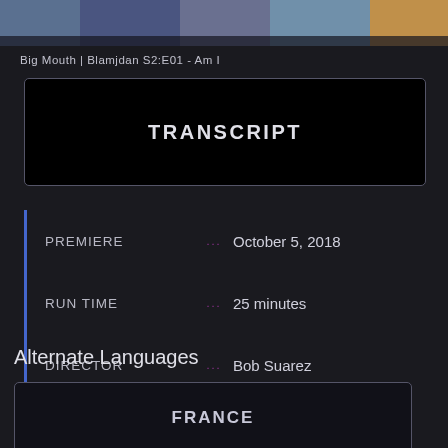[Figure (screenshot): Animated screenshot from Big Mouth show at top of page]
Big Mouth | Blamjdan S2:E01 - Am I
TRANSCRIPT
PREMIERE ... October 5, 2018
RUN TIME ... 25 minutes
DIRECTOR ... Bob Suarez
WRITER ... Andrew Goldberg
Alternate Languages
FRANCE
DEUTSCH